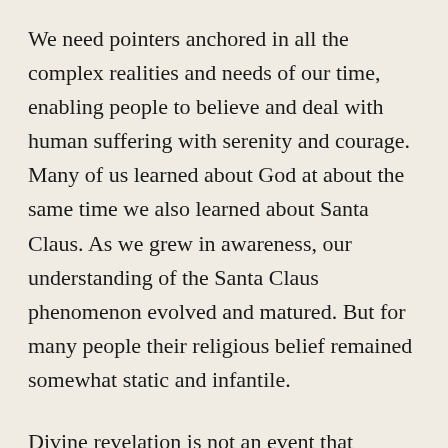We need pointers anchored in all the complex realities and needs of our time, enabling people to believe and deal with human suffering with serenity and courage. Many of us learned about God at about the same time we also learned about Santa Claus. As we grew in awareness, our understanding of the Santa Claus phenomenon evolved and matured. But for many people their religious belief remained somewhat static and infantile.
Divine revelation is not an event that happened once in the past. It is an ongoing and creative process that requires human perception and contemplation. Revelation is a part of reality. We